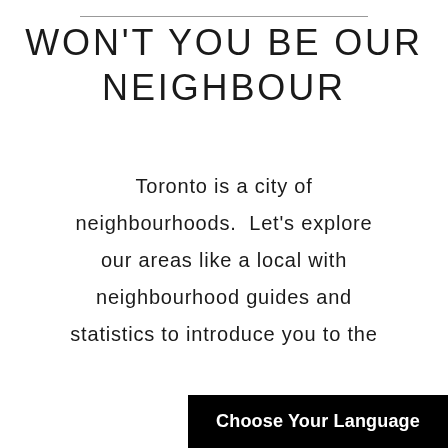WON'T YOU BE OUR NEIGHBOUR
Toronto is a city of neighbourhoods.  Let's explore our areas like a local with neighbourhood guides and statistics to introduce you to the area.
Choose Your Language